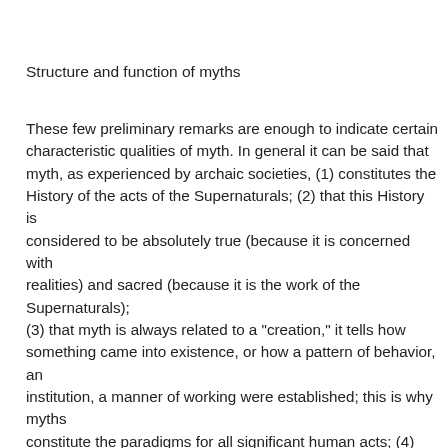Structure and function of myths
These few preliminary remarks are enough to indicate certain characteristic qualities of myth. In general it can be said that myth, as experienced by archaic societies, (1) constitutes the History of the acts of the Supernaturals; (2) that this History is considered to be absolutely true (because it is concerned with realities) and sacred (because it is the work of the Supernaturals); (3) that myth is always related to a "creation," it tells how something came into existence, or how a pattern of behavior, an institution, a manner of working were established; this is why myths constitute the paradigms for all significant human acts; (4) that by